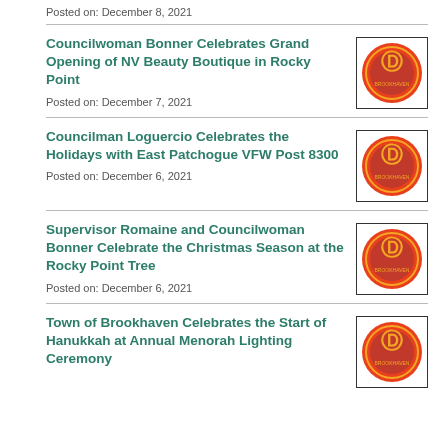Posted on: December 8, 2021
Councilwoman Bonner Celebrates Grand Opening of NV Beauty Boutique in Rocky Point
Posted on: December 7, 2021
Councilman Loguercio Celebrates the Holidays with East Patchogue VFW Post 8300
Posted on: December 6, 2021
Supervisor Romaine and Councilwoman Bonner Celebrate the Christmas Season at the Rocky Point Tree
Posted on: December 6, 2021
Town of Brookhaven Celebrates the Start of Hanukkah at Annual Menorah Lighting Ceremony